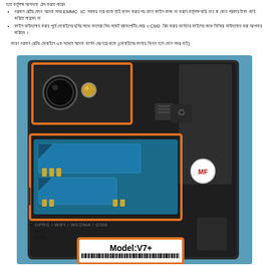হতে কর্তৃপক্ষ আপনকে ঠেস করতে পারেন
নরমাল রেটের ফোন অনেক সময় EMMC IC সমলায় হয়ে থাকে তাই ফ্লশ করার পর কোন ফাইল কাজ না করলে কর্তৃপক্ষ দায়ি নাহ বা কোন প্রকার টাকা দাবি করিতে পারবেন না
ফাইল ডাউনলোড করার পূর্বে মোবাইলের ছবির সাথে কামেরা সিম সকেট ব্যাকপেটির সেয়ে ও CM2 রিড করার ভার্সনের ফাইলের সাথে মিলিয়ে ডাউনলোড করা আপনার দায়িত্ব ।
কারণ নরমান রেটের মোবাইলে এক মডেলে অনেক ভার্সন বের হয়ে থাকে (মোবাইলের কালার ভিন্ন হলে কোন সময় নাই)
[Figure (photo): Photograph of the back of a mobile phone showing the camera module (highlighted with orange rectangle), SIM card tray (highlighted with orange rectangle), and model label sticker showing 'Model:V7+' (highlighted with orange rectangle). The phone is black and the label shows a barcode below the model number. Text visible: GPRS / WIFI / WCDMA / GSM, MF sticker on right side.]